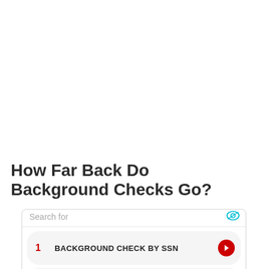How Far Back Do Background Checks Go?
[Figure (screenshot): Advertisement widget with search bar and two result rows: 1) BACKGROUND CHECK BY SSN, 2) EMPLOYMENT BACKGROUND. Footer shows 'Ad | Business Focus'.]